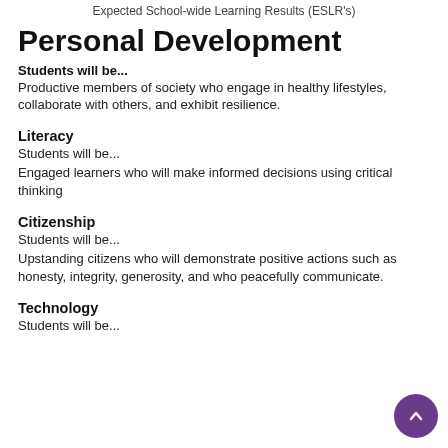Expected School-wide Learning Results (ESLR's)
Personal Development
Students will be...
Productive members of society who engage in healthy lifestyles, collaborate with others, and exhibit resilience.
Literacy
Students will be...
Engaged learners who will make informed decisions using critical thinking
Citizenship
Students will be...
Upstanding citizens who will demonstrate positive actions such as honesty, integrity, generosity, and who peacefully communicate.
Technology
Students will be...